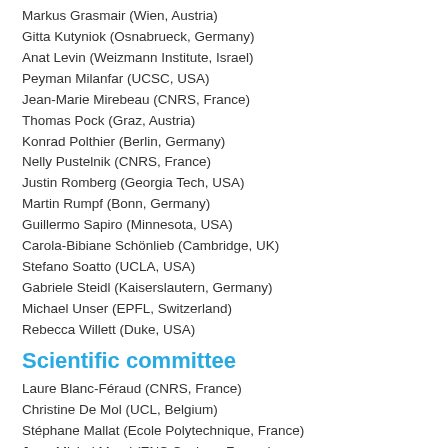Markus Grasmair (Wien, Austria)
Gitta Kutyniok (Osnabrueck, Germany)
Anat Levin (Weizmann Institute, Israel)
Peyman Milanfar (UCSC, USA)
Jean-Marie Mirebeau (CNRS, France)
Thomas Pock (Graz, Austria)
Konrad Polthier (Berlin, Germany)
Nelly Pustelnik (CNRS, France)
Justin Romberg (Georgia Tech, USA)
Martin Rumpf (Bonn, Germany)
Guillermo Sapiro (Minnesota, USA)
Carola-Bibiane Schönlieb (Cambridge, UK)
Stefano Soatto (UCLA, USA)
Gabriele Steidl (Kaiserslautern, Germany)
Michael Unser (EPFL, Switzerland)
Rebecca Willett (Duke, USA)
Scientific committee
Laure Blanc-Féraud (CNRS, France)
Christine De Mol (UCL, Belgium)
Stéphane Mallat (Ecole Polytechnique, France)
Jean-Michel Morel (ENS Cachan, France)
Joachim Weickert (Saarland, Germany)